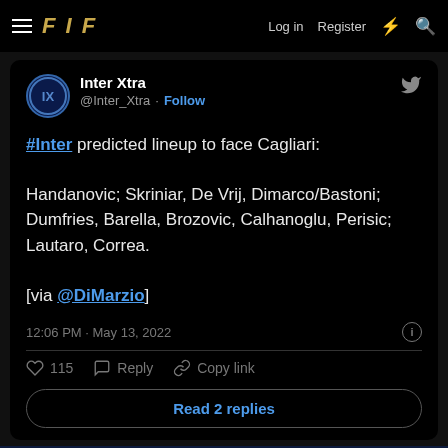FIF — Log in  Register
#Inter predicted lineup to face Cagliari:

Handanovic; Skriniar, De Vrij, Dimarco/Bastoni; Dumfries, Barella, Brozovic, Calhanoglu, Perisic; Lautaro, Correa.

[via @DiMarzio]
12:06 PM · May 13, 2022
115  Reply  Copy link
Read 2 replies